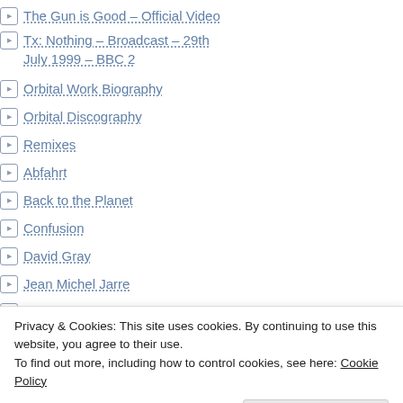The Gun is Good – Official Video
Tx: Nothing – Broadcast – 29th July 1999 – BBC 2
Orbital Work Biography
Orbital Discography
Remixes
Abfahrt
Back to the Planet
Confusion
David Gray
Jean Michel Jarre
The Drum Club
The Drum Club ALt
Orbital Tour Dates
Privacy & Cookies: This site uses cookies. By continuing to use this website, you agree to their use. To find out more, including how to control cookies, see here: Cookie Policy
Close and accept